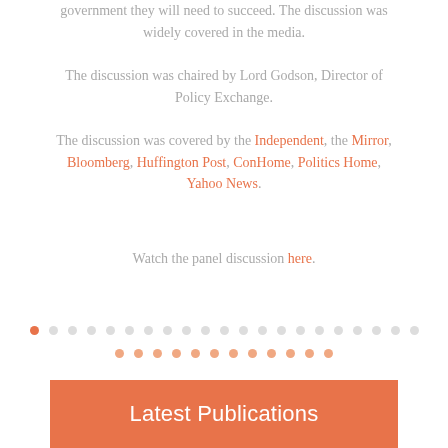government they will need to succeed. The discussion was widely covered in the media.
The discussion was chaired by Lord Godson, Director of Policy Exchange.
The discussion was covered by the Independent, the Mirror, Bloomberg, Huffington Post, ConHome, Politics Home, Yahoo News.
Watch the panel discussion here.
[Figure (other): Pagination dots: two rows of circular dots, first dot in row 1 is solid orange (active), remaining dots are light grey; row 2 dots are light orange/peach]
Latest Publications